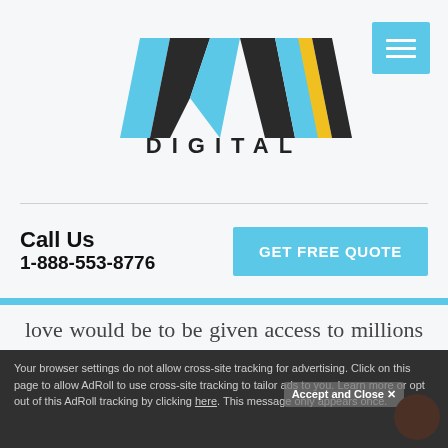[Figure (logo): MAX Digital logo with stylized blue and black lettering and yellow accent, with 'DIGITAL' text below]
[Figure (other): Hamburger menu button in light blue]
Call Us
1-888-553-8776
GET FREE QUOTE
love would be to be given access to millions of new potential customers over-night. Well, with the addition of being able to sell on the Walmart Marketplace through BigCommerce, that is exactly what [...]
Your browser settings do not allow cross-site tracking for advertising. Click on this page to allow AdRoll to use cross-site tracking to tailor ads to you. Learn more or opt out of this AdRoll tracking by clicking here. This message only appears once.